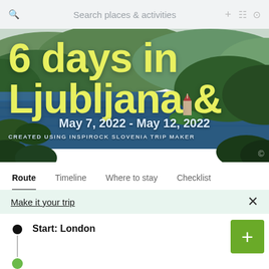Search places & activities
6 days in Ljubljana &
May 7, 2022 - May 12, 2022
CREATED USING INSPIROCK SLOVENIA TRIP MAKER
[Figure (screenshot): Hero banner photograph of Lake Bled in Slovenia with forested hills, blue lake water, and a small island with a church. Bold yellow text overlay reads '6 days in Ljubljana &' with dates and attribution.]
Route	Timeline	Where to stay	Checklist
Make it your trip
Start: London